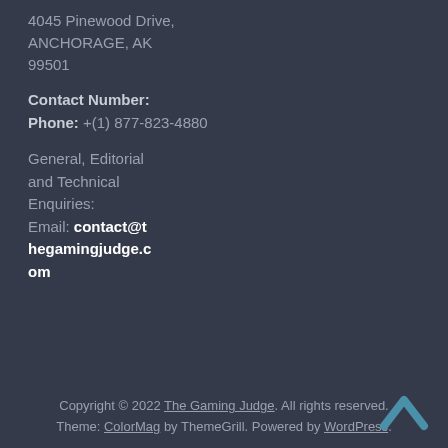4045 Pinewood Drive, ANCHORAGE, AK 99501
Contact Number: Phone: +(1) 877-823-4880
General, Editorial and Technical Enquiries: Email: contact@thegamingjudge.com
Copyright © 2022 The Gaming Judge. All rights reserved. Theme: ColorMag by ThemeGrill. Powered by WordPress.